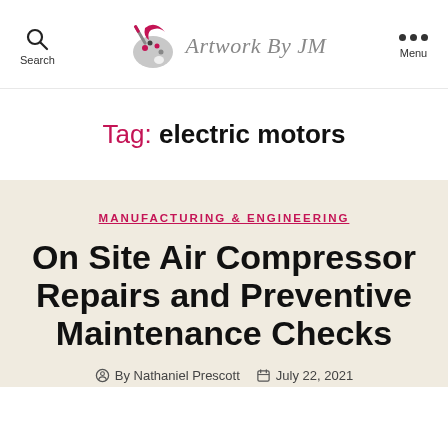Artwork By JM — Search | Menu
Tag: electric motors
MANUFACTURING & ENGINEERING
On Site Air Compressor Repairs and Preventive Maintenance Checks
By Nathaniel Prescott   July 22, 2021